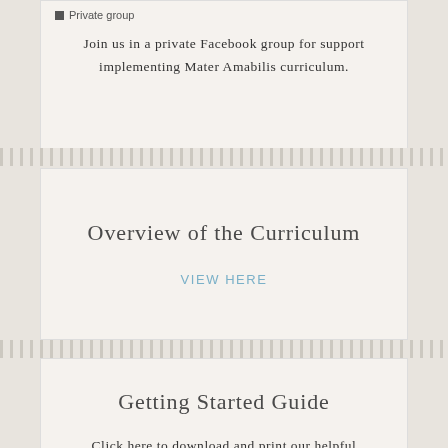Private group
Join us in a private Facebook group for support implementing Mater Amabilis curriculum.
Overview of the Curriculum
VIEW HERE
Getting Started Guide
Click here to download and print our helpful guide to getting started with Mater Amabilis ™